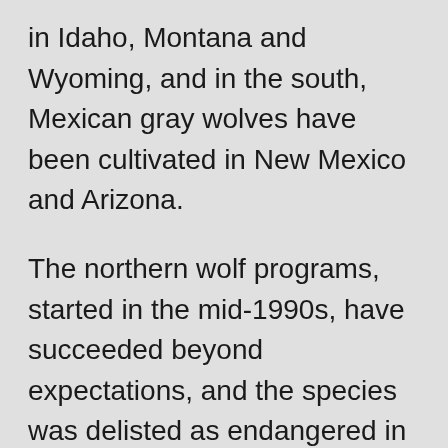in Idaho, Montana and Wyoming, and in the south, Mexican gray wolves have been cultivated in New Mexico and Arizona.
The northern wolf programs, started in the mid-1990s, have succeeded beyond expectations, and the species was delisted as endangered in 2011, which transferred management to the states.